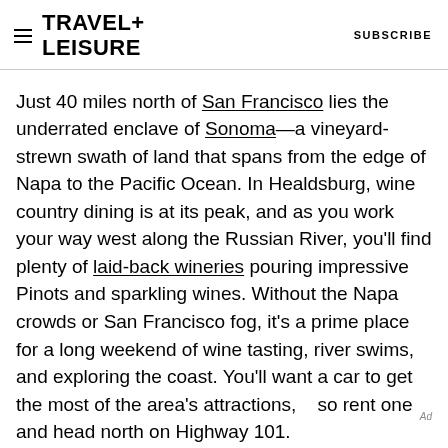TRAVEL+ LEISURE   SUBSCRIBE
Just 40 miles north of San Francisco lies the underrated enclave of Sonoma—a vineyard-strewn swath of land that spans from the edge of Napa to the Pacific Ocean. In Healdsburg, wine country dining is at its peak, and as you work your way west along the Russian River, you'll find plenty of laid-back wineries pouring impressive Pinots and sparkling wines. Without the Napa crowds or San Francisco fog, it's a prime place for a long weekend of wine tasting, river swims, and exploring the coast. You'll want a car to get the most of the area's attractions, so rent one and head north on Highway 101.